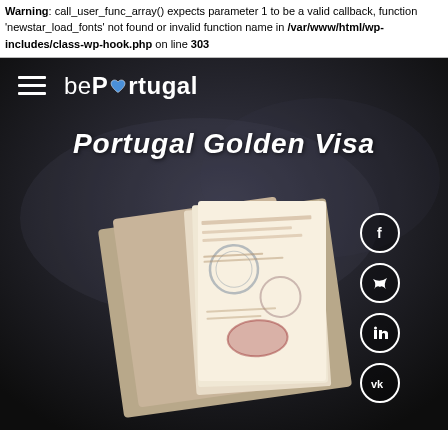Warning: call_user_func_array() expects parameter 1 to be a valid callback, function 'newstar_load_fonts' not found or invalid function name in /var/www/html/wp-includes/class-wp-hook.php on line 303
[Figure (screenshot): bePortugal website header with navigation hamburger menu, bePortugal logo with heart icon, page title 'Portugal Golden Visa', social sharing icons (Facebook, Twitter, LinkedIn, VK), and a background hero image showing an open passport with stamps on a dark background.]